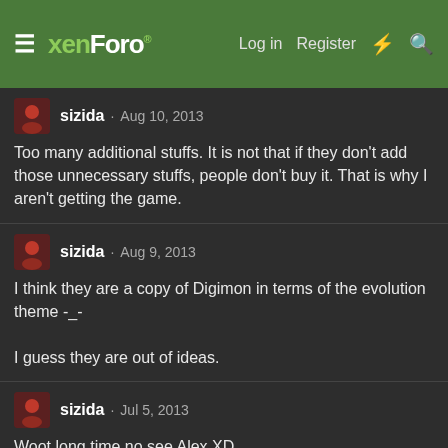xenForo · Log in · Register
sizida · Aug 10, 2013
Too many additional stuffs. It is not that if they don't add those unnecessary stuffs, people don't buy it. That is why I aren't getting the game.
sizida · Aug 9, 2013
I think they are a copy of Digimon in terms of the evolution theme -_-

I guess they are out of ideas.
sizida · Jul 5, 2013
Woot long time no see Alex XD
Totokip · Aug 31, 2012
Seems October 8th is the America release date for Black and